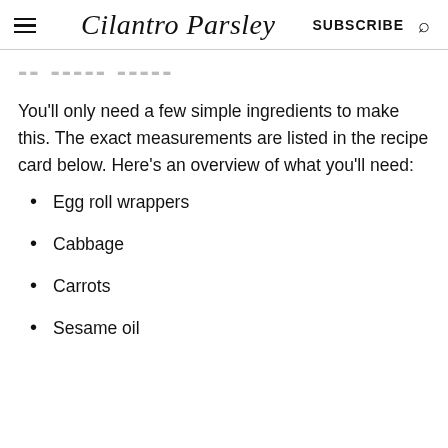Cilantro Parsley | SUBSCRIBE
You'll only need a few simple ingredients to make this. The exact measurements are listed in the recipe card below. Here's an overview of what you'll need:
Egg roll wrappers
Cabbage
Carrots
Sesame oil